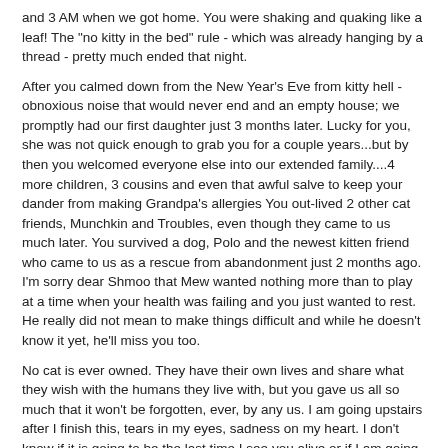and 3 AM when we got home. You were shaking and quaking like a leaf! The "no kitty in the bed" rule - which was already hanging by a thread - pretty much ended that night.
After you calmed down from the New Year's Eve from kitty hell - obnoxious noise that would never end and an empty house; we promptly had our first daughter just 3 months later. Lucky for you, she was not quick enough to grab you for a couple years...but by then you welcomed everyone else into our extended family....4 more children, 3 cousins and even that awful salve to keep your dander from making Grandpa's allergies You out-lived 2 other cat friends, Munchkin and Troubles, even though they came to us much later. You survived a dog, Polo and the newest kitten friend who came to us as a rescue from abandonment just 2 months ago. I'm sorry dear Shmoo that Mew wanted nothing more than to play at a time when your health was failing and you just wanted to rest. He really did not mean to make things difficult and while he doesn't know it yet, he'll miss you too.
No cat is ever owned. They have their own lives and share what they wish with the humans they live with, but you gave us all so much that it won't be forgotten, ever, by any us. I am going upstairs after I finish this, tears in my eyes, sadness on my heart. I don't know if it is going to be the last time I see you alive or if I am going to have to take you to the vet in the morning. I'll scratch your ears one last time, pet your belly and whisper it once more...I love you Shmoo-boy.
Rest In Peace, Shmoo
(1997-2014)
(With apologies to the original artist..)